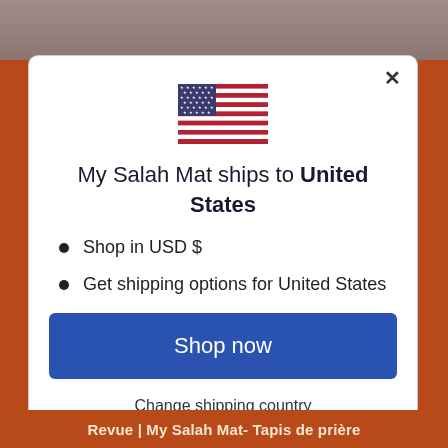[Figure (illustration): US flag emoji/icon centered in modal]
My Salah Mat ships to United States
Shop in USD $
Get shipping options for United States
Shop now
Change shipping country
Revue | My Salah Mat- Tapis de prière